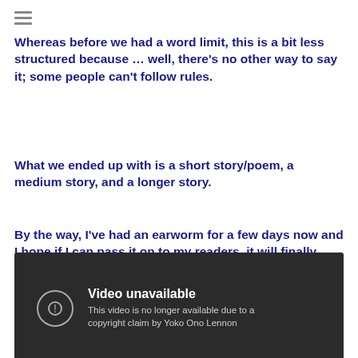Whereas before we had a word limit, this is a bit less structured because … well, there's no other way to say it; some people can't follow rules.
What we ended up with is a short story/poem, a medium story, and a longer story.
By the way, I've had an earworm for a few days now and I hope if I can pass it on to my readers, it will finally leave me alone. So, here goes …
[Figure (screenshot): YouTube video embed showing 'Video unavailable' error with message: 'This video is no longer available due to a copyright claim by Yoko Ono Lennon']